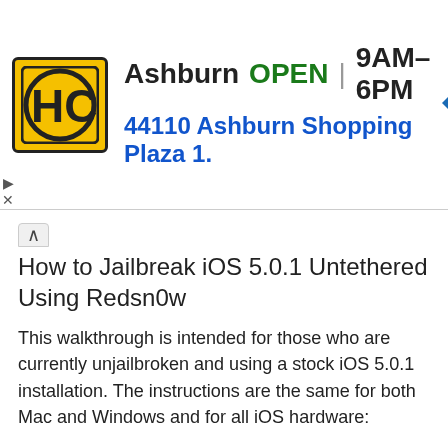[Figure (other): Advertisement banner for HC store in Ashburn, showing logo, OPEN status, hours 9AM-6PM, address 44110 Ashburn Shopping Plaza 1., and a blue navigation arrow icon]
How to Jailbreak iOS 5.0.1 Untethered Using Redsn0w
This walkthrough is intended for those who are currently unjailbroken and using a stock iOS 5.0.1 installation. The instructions are the same for both Mac and Windows and for all iOS hardware:
Launch Redsn0w
Connect the iOS device to the computer and then turn it off
Launch Redsn0w and click on “Jailbreak”
Put your iPhone, iPad, or iPod touch into DFU mode: Hold the power button for 3 seconds